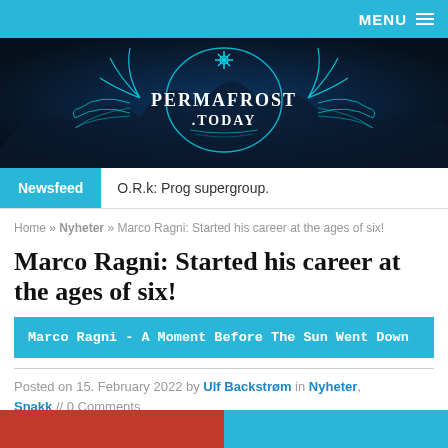MENU ☰
[Figure (logo): Permafrost Today website banner logo with snowflake emblem and antler-like decorations on black background with teal accents]
Newsfeed | O.R.k: Prog supergroup.
Home » Nyheter » Marco Ragni: Started his career at the ages of six!
Marco Ragni: Started his career at the ages of six!
Marco Ragni - A Moment Before The Sun Went Down
Posted on 15. February 2022 by Ulf Backstrøm in Nyheter, Snakk // 0 Comments